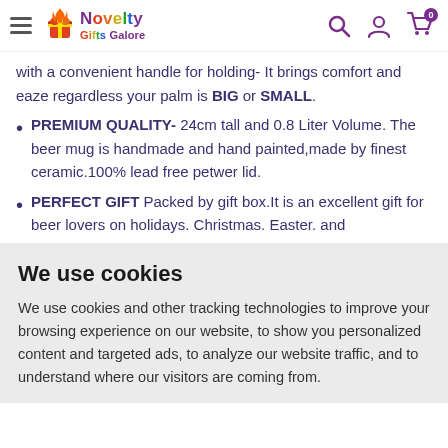Novelty Gifts Galore — navigation header with hamburger menu, logo, search, account, and cart icons
with a convenient handle for holding- It brings comfort and eaze regardless your palm is BIG or SMALL.
PREMIUM QUALITY- 24cm tall and 0.8 Liter Volume. The beer mug is handmade and hand painted,made by finest ceramic.100% lead free petwer lid.
PERFECT GIFT Packed by gift box.It is an excellent gift for beer lovers on holidays. Christmas. Easter. and
We use cookies
We use cookies and other tracking technologies to improve your browsing experience on our website, to show you personalized content and targeted ads, to analyze our website traffic, and to understand where our visitors are coming from.